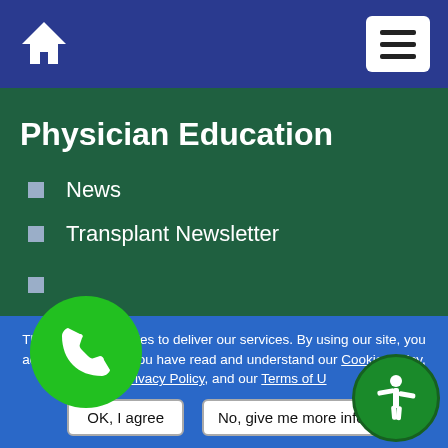Home | Menu
Physician Education
News
Transplant Newsletter
[phone icon overlay]
ation
Stats- Organ Donation
TN GO'S
Andhra Pradesh Order
This site uses cookies to deliver our services. By using our site, you acknowledge that you have read and understand our Cookie Policy, Privacy Policy, and our Terms of U...
OK, I agree | No, give me more info